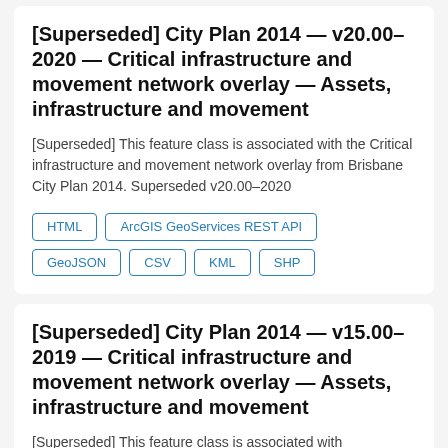[Superseded] City Plan 2014 — v20.00–2020 — Critical infrastructure and movement network overlay — Assets, infrastructure and movement
[Superseded] This feature class is associated with the Critical infrastructure and movement network overlay from Brisbane City Plan 2014. Superseded v20.00–2020
HTML
ArcGIS GeoServices REST API
GeoJSON
CSV
KML
SHP
[Superseded] City Plan 2014 — v15.00–2019 — Critical infrastructure and movement network overlay — Assets, infrastructure and movement
[Superseded] This feature class is associated with